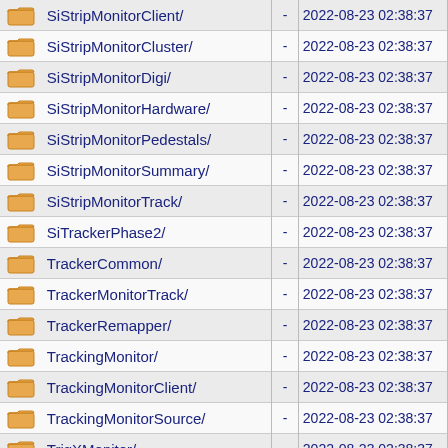|  | Name |  | Date |
| --- | --- | --- | --- |
| [folder] | SiStripMonitorClient/ | - | 2022-08-23 02:38:37 |
| [folder] | SiStripMonitorCluster/ | - | 2022-08-23 02:38:37 |
| [folder] | SiStripMonitorDigi/ | - | 2022-08-23 02:38:37 |
| [folder] | SiStripMonitorHardware/ | - | 2022-08-23 02:38:37 |
| [folder] | SiStripMonitorPedestals/ | - | 2022-08-23 02:38:37 |
| [folder] | SiStripMonitorSummary/ | - | 2022-08-23 02:38:37 |
| [folder] | SiStripMonitorTrack/ | - | 2022-08-23 02:38:37 |
| [folder] | SiTrackerPhase2/ | - | 2022-08-23 02:38:37 |
| [folder] | TrackerCommon/ | - | 2022-08-23 02:38:37 |
| [folder] | TrackerMonitorTrack/ | - | 2022-08-23 02:38:37 |
| [folder] | TrackerRemapper/ | - | 2022-08-23 02:38:37 |
| [folder] | TrackingMonitor/ | - | 2022-08-23 02:38:37 |
| [folder] | TrackingMonitorClient/ | - | 2022-08-23 02:38:37 |
| [folder] | TrackingMonitorSource/ | - | 2022-08-23 02:38:37 |
| [folder] | TrigXMonitor/ | - | 2022-08-23 02:38:37 |
| [folder] | TrigXMonitorClient/ | - | 2022-08-23 02:38:37 |